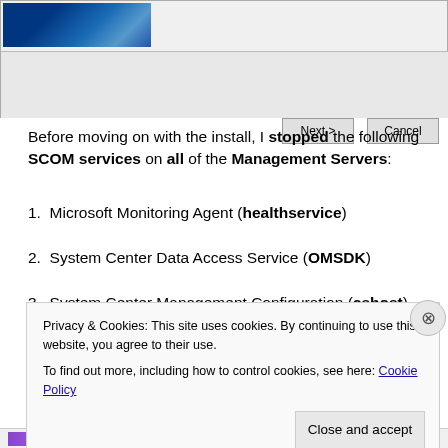[Figure (screenshot): Windows installer dialog screenshot showing blue banner graphic, gray panel with Next > and Cancel buttons]
Before moving on with the install, I stopped the following SCOM services on all of the Management Servers:
1. Microsoft Monitoring Agent (healthservice)
2. System Center Data Access Service (OMSDK)
3. System Center Management Configuration (cshost)
Now we can run the installer (Run As Administrator or,
SCOM Data Access/SDK account)
Privacy & Cookies: This site uses cookies. By continuing to use this website, you agree to their use.
To find out more, including how to control cookies, see here: Cookie Policy